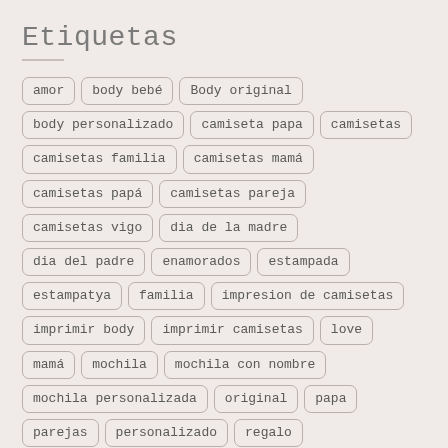Etiquetas
amor
body bebé
Body original
body personalizado
camiseta papa
camisetas
camisetas familia
camisetas mamá
camisetas papá
camisetas pareja
camisetas vigo
dia de la madre
dia del padre
enamorados
estampada
estampatya
familia
impresion de camisetas
imprimir body
imprimir camisetas
love
mamá
mochila
mochila con nombre
mochila personalizada
original
papa
parejas
personalizado
regalo
regalo abuela
regalo bebé
regalo navidad
regalo original
regalo papá
regalo personalizado
regalo profe